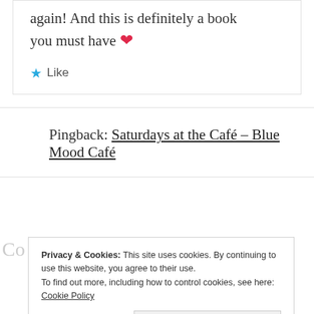again! And this is definitely a book you must have ❤
★ Like
Pingback: Saturdays at the Café – Blue Mood Café
Co
Privacy & Cookies: This site uses cookies. By continuing to use this website, you agree to their use. To find out more, including how to control cookies, see here: Cookie Policy
Close and accept